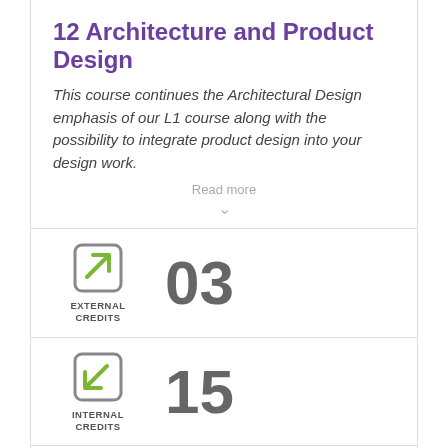12 Architecture and Product Design
This course continues the Architectural Design emphasis of our L1 course along with the possibility to integrate product design into your design work.
Read more
[Figure (infographic): Green external credits icon (square with arrow pointing up-right). Label: EXTERNAL CREDITS. Value: 03]
[Figure (infographic): Green internal credits icon (square with arrow pointing down-left). Label: INTERNAL CREDITS. Value: 15]
[Figure (infographic): Grey fee contribution icon (square with dollar sign). Label: FEE CONTRIBUTION. Value: 0]